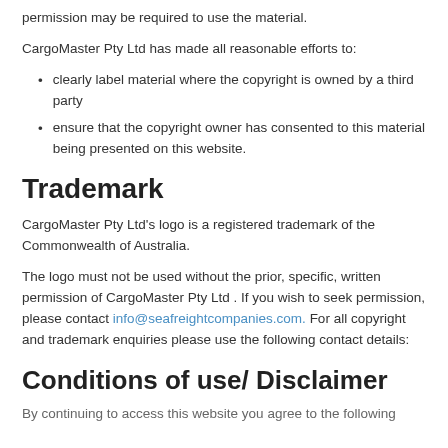permission may be required to use the material.
CargoMaster Pty Ltd has made all reasonable efforts to:
clearly label material where the copyright is owned by a third party
ensure that the copyright owner has consented to this material being presented on this website.
Trademark
CargoMaster Pty Ltd’s logo is a registered trademark of the Commonwealth of Australia.
The logo must not be used without the prior, specific, written permission of CargoMaster Pty Ltd . If you wish to seek permission, please contact info@seafreightcompanies.com. For all copyright and trademark enquiries please use the following contact details:
Conditions of use/ Disclaimer
By continuing to access this website you agree to the following